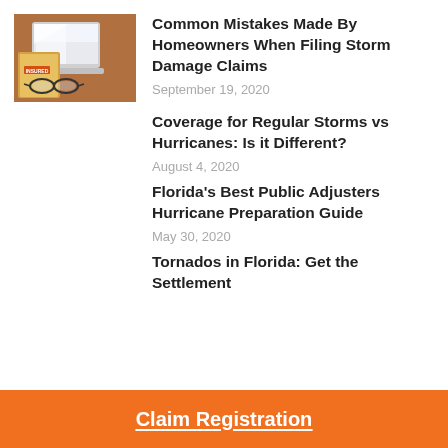[Figure (photo): Photo of a laptop, glasses, and documents on a desk, presumably related to insurance claims filing]
Common Mistakes Made By Homeowners When Filing Storm Damage Claims
September 19, 2020
Coverage for Regular Storms vs Hurricanes: Is it Different?
August 4, 2020
Florida's Best Public Adjusters Hurricane Preparation Guide
May 30, 2020
Tornados in Florida: Get the Settlement
Claim Registration